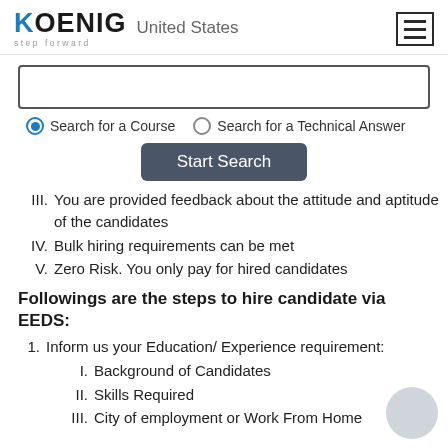[Figure (logo): Koenig logo with 'step forward' tagline and 'United States' region label, plus hamburger menu icon]
[Figure (screenshot): Search input box, radio buttons for 'Search for a Course' and 'Search for a Technical Answer', and a 'Start Search' button]
III. You are provided feedback about the attitude and aptitude of the candidates
IV. Bulk hiring requirements can be met
V. Zero Risk. You only pay for hired candidates
Followings are the steps to hire candidate via EEDS:
1. Inform us your Education/ Experience requirement:
I. Background of Candidates
II. Skills Required
III. City of employment or Work From Home